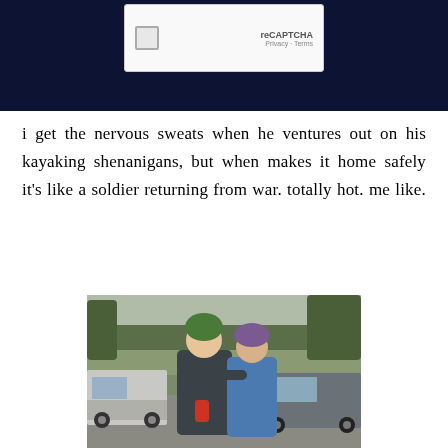[Figure (screenshot): A dark navy background with a reCAPTCHA widget showing a checkbox, the text area, and reCAPTCHA branding with Privacy and Terms links]
i get the nervous sweats when he ventures out on his kayaking shenanigans, but when makes it home safely it's like a soldier returning from war. totally hot. me like.
[Figure (photo): Two people standing together outdoors in a parking area with trees in the background. Both are wearing kayaking gear including helmets and life vests. One wears a green helmet, the other a purple helmet. Vehicles are visible in the background.]